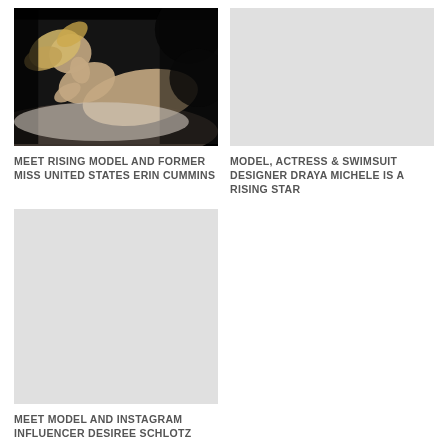[Figure (photo): Black and white artistic photo of a woman lying down, glamour/model shot]
MEET RISING MODEL AND FORMER MISS UNITED STATES ERIN CUMMINS
[Figure (photo): Placeholder image (light gray)]
MODEL, ACTRESS & SWIMSUIT DESIGNER DRAYA MICHELE IS A RISING STAR
[Figure (photo): Placeholder image (light gray), tall format]
MEET MODEL AND INSTAGRAM INFLUENCER DESIREE SCHLOTZ